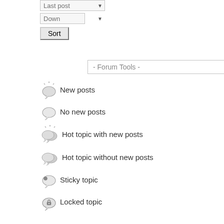[Figure (screenshot): Forum sort controls: 'Last post' dropdown, 'Down' dropdown, and Sort button]
[Figure (screenshot): Forum Tools dropdown selector]
New posts
No new posts
Hot topic with new posts
Hot topic without new posts
Sticky topic
Locked topic